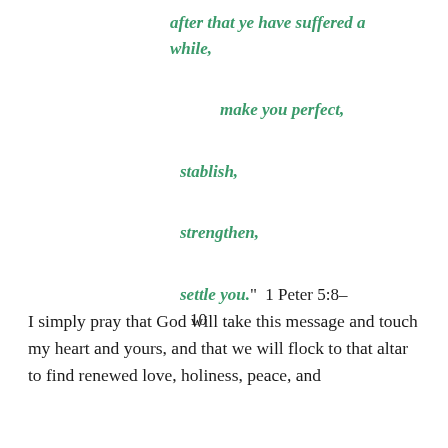after that ye have suffered a while, make you perfect, stablish, strengthen, settle you." 1 Peter 5:8-10
I simply pray that God will take this message and touch my heart and yours, and that we will flock to that altar to find renewed love, holiness, peace, and